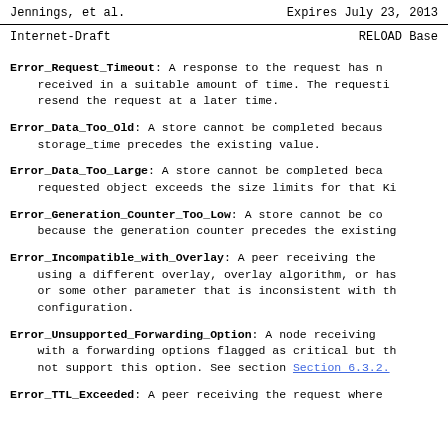Jennings, et al.    Expires July 23, 2013
Internet-Draft                      RELOAD Base
Error_Request_Timeout:  A response to the request has not been received in a suitable amount of time.  The requesting peer should resend the request at a later time.
Error_Data_Too_Old:  A store cannot be completed because the storage_time precedes the existing value.
Error_Data_Too_Large:  A store cannot be completed because the requested object exceeds the size limits for that Kind.
Error_Generation_Counter_Too_Low:  A store cannot be completed because the generation counter precedes the existing value.
Error_Incompatible_with_Overlay:  A peer receiving the message is using a different overlay, overlay algorithm, or has a different version or some other parameter that is inconsistent with the overlay configuration.
Error_Unsupported_Forwarding_Option:  A node receiving a message with a forwarding options flagged as critical but that the node does not support this option.  See section Section 6.3.2.
Error_TTL_Exceeded:  A peer receiving the request where